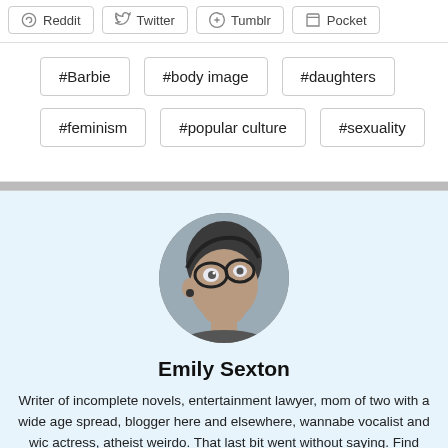Reddit  Twitter  Tumblr  Pocket
#Barbie
#body image
#daughters
#feminism
#popular culture
#sexuality
[Figure (photo): Circular profile photo of Emily Sexton, a person wearing glasses, looking to the side.]
Emily Sexton
Writer of incomplete novels, entertainment lawyer, mom of two with a wide age spread, blogger here and elsewhere, wannabe vocalist and wic actress, atheist weirdo. That last bit went without saying. Find E...